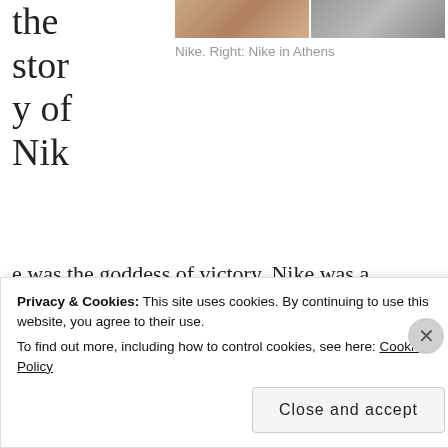[Figure (photo): Two cropped photos side by side at top — left appears to show a person, right shows a textured/animal surface]
Nike. Right: Nike in Athens
the story of Nike was the goddess of victory. Nike was a goddess before she was a brand. In order to keep Nike, Athens cut her wings to keep her contained and controlled. Israel also had their turn by crafting God into a golden calf.
Privacy & Cookies: This site uses cookies. By continuing to use this website, you agree to their use.
To find out more, including how to control cookies, see here: Cookie Policy
Close and accept